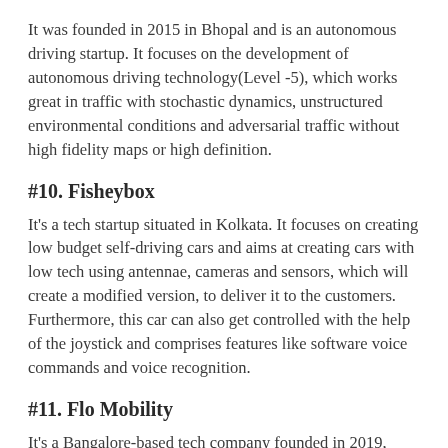It was founded in 2015 in Bhopal and is an autonomous driving startup. It focuses on the development of autonomous driving technology(Level -5), which works great in traffic with stochastic dynamics, unstructured environmental conditions and adversarial traffic without high fidelity maps or high definition.
#10. Fisheybox
It's a tech startup situated in Kolkata. It focuses on creating low budget self-driving cars and aims at creating cars with low tech using antennae, cameras and sensors, which will create a modified version, to deliver it to the customers. Furthermore, this car can also get controlled with the help of the joystick and comprises features like software voice commands and voice recognition.
#11. Flo Mobility
It's a Bangalore-based tech company founded in 2019,